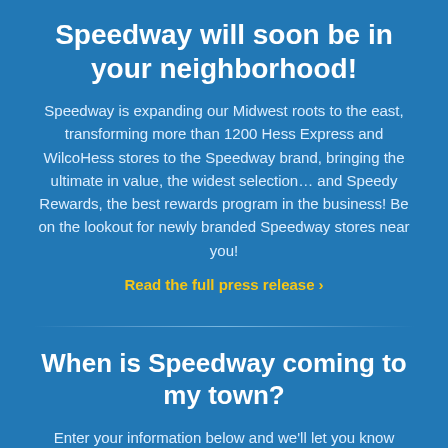Speedway will soon be in your neighborhood!
Speedway is expanding our Midwest roots to the east, transforming more than 1200 Hess Express and WilcoHess stores to the Speedway brand, bringing the ultimate in value, the widest selection… and Speedy Rewards, the best rewards program in the business! Be on the lookout for newly branded Speedway stores near you!
Read the full press release >
When is Speedway coming to my town?
Enter your information below and we'll let you know